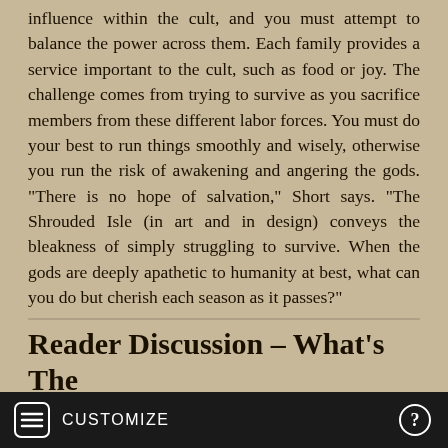influence within the cult, and you must attempt to balance the power across them. Each family provides a service important to the cult, such as food or joy. The challenge comes from trying to survive as you sacrifice members from these different labor forces. You must do your best to run things smoothly and wisely, otherwise you run the risk of awakening and angering the gods. "There is no hope of salvation," Short says. "The Shrouded Isle (in art and in design) conveys the bleakness of simply struggling to survive. When the gods are deeply apathetic to humanity at best, what can you do but cherish each season as it passes?"
Reader Discussion – What's The Funniest Game You Ever Played?
6 years ago from GameInformer News